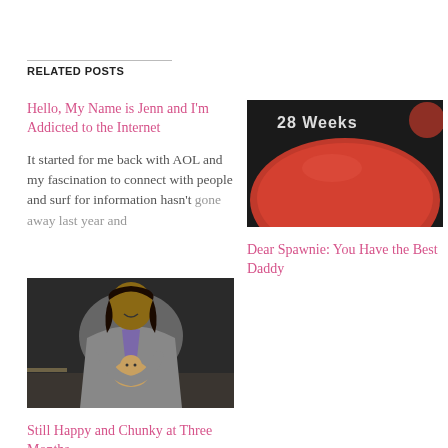RELATED POSTS
Hello, My Name is Jenn and I'm Addicted to the Internet
It started for me back with AOL and my fascination to connect with people and surf for information hasn't gone away last year and
[Figure (photo): 28 Weeks text overlay on a red exercise ball or bump photo with dark background]
Dear Spawnie: You Have the Best Daddy
[Figure (photo): A smiling woman in a grey blazer holding a baby, sitting indoors]
Still Happy and Chunky at Three Months